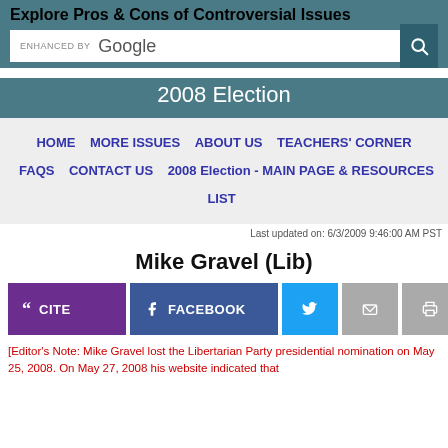Explore Pros & Cons of Controversial Issues
2008 Election
HOME   MORE ISSUES   ABOUT US   TEACHERS' CORNER   FAQS   CONTACT US   2008 Election - MAIN PAGE & RESOURCES LIST
Last updated on: 6/3/2009 9:46:00 AM PST
Mike Gravel (Lib)
[Editor's Note: Mike Gravel lost the Libertarian Party presidential nomination on May 25, 2008. On May 27, 2008 his website indicated that